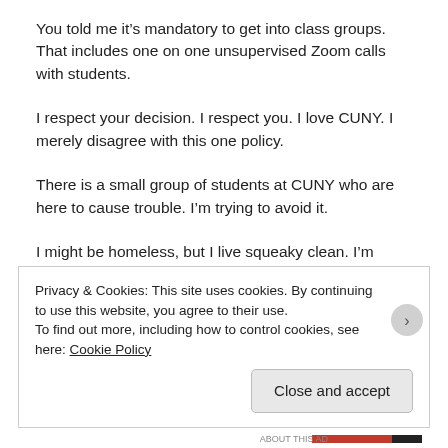You told me it's mandatory to get into class groups. That includes one on one unsupervised Zoom calls with students.
I respect your decision. I respect you. I love CUNY. I merely disagree with this one policy.
There is a small group of students at CUNY who are here to cause trouble. I'm trying to avoid it.
I might be homeless, but I live squeaky clean. I'm rebranding myself, Mark “squeaky clean” Pine.
Privacy & Cookies: This site uses cookies. By continuing to use this website, you agree to their use.
To find out more, including how to control cookies, see here: Cookie Policy
Close and accept